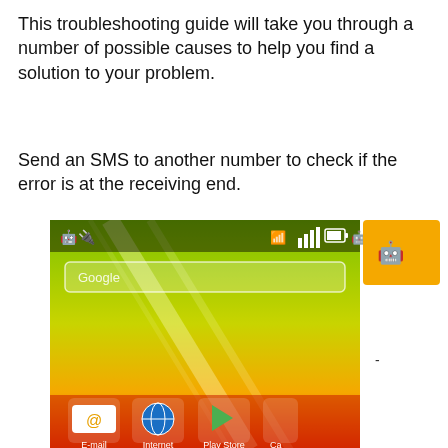This troubleshooting guide will take you through a number of possible causes to help you find a solution to your problem.
Send an SMS to another number to check if the error is at the receiving end.
[Figure (screenshot): Screenshot of an Android smartphone home screen showing a green and yellow gradient wallpaper, status bar with WiFi and signal icons, Google search bar, and app icons at the bottom including E-mail, Internet, Play Store, and a partially visible Camera icon.]